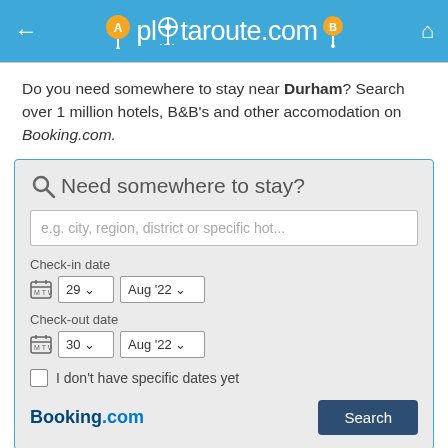plotaroute.com
Do you need somewhere to stay near Durham? Search over 1 million hotels, B&B's and other accomodation on Booking.com.
[Figure (screenshot): Hotel booking search widget with fields for location, check-in date (29 Aug '22), check-out date (30 Aug '22), a checkbox for 'I don't have specific dates yet', Booking.com logo and Search button.]